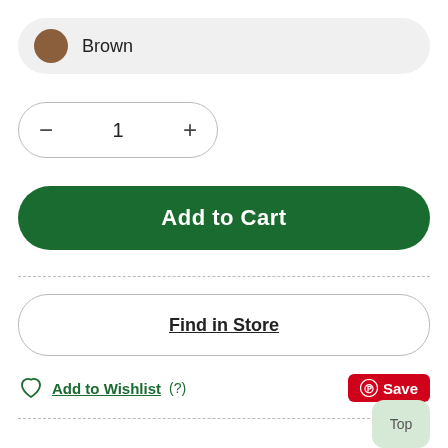Brown
1
Add to Cart
Find in Store
Add to Wishlist (?)
Save
Delivery Options:
Delivery to home - free standard delivery on orders over $200